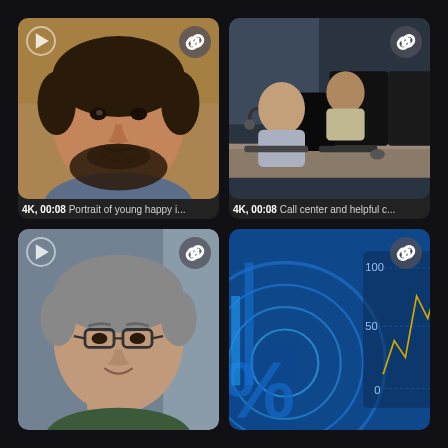[Figure (photo): Portrait of a young happy man with beard, smiling, in an office/bookshelf background. Has play button icon top-left and link icon top-right.]
4K, 00:08 Portrait of young happy i...
[Figure (photo): Call center workers with headsets sitting at computers in a row. Has link icon top-right.]
4K, 00:08 Call center and helpful c...
[Figure (photo): Middle-aged man with grey hair and glasses, wearing dark green shirt, smiling. Has play button icon top-left and link icon top-right.]
[Figure (screenshot): Blue digital data visualization with circular graphics, percentage symbol, and a chart showing values 0, 50, 100. Has link icon top-right.]